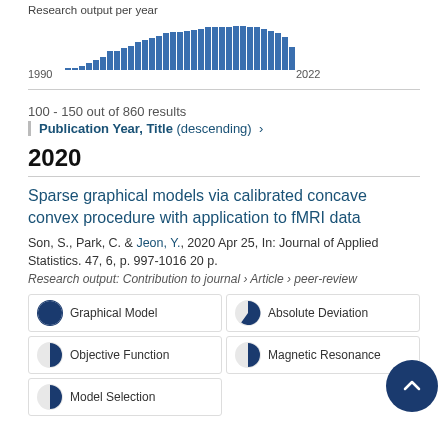[Figure (bar-chart): Research output per year]
100 - 150 out of 860 results
Publication Year, Title (descending) ›
2020
Sparse graphical models via calibrated concave convex procedure with application to fMRI data
Son, S., Park, C. & Jeon, Y., 2020 Apr 25, In: Journal of Applied Statistics. 47, 6, p. 997-1016 20 p.
Research output: Contribution to journal › Article › peer-review
Graphical Model
Absolute Deviation
Objective Function
Magnetic Resonance
Model Selection